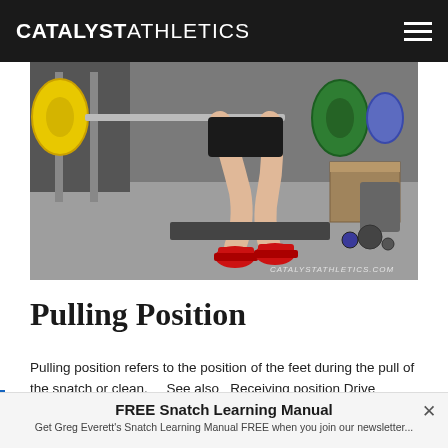CATALYST ATHLETICS
[Figure (photo): Weightlifter's legs and feet in red shoes at the bottom of a snatch or clean pull, barbell loaded with yellow and green plates visible, gym setting with wooden box in background. Watermark: CATALYSTATHLETICS.COM]
Pulling Position
Pulling position refers to the position of the feet during the pull of the snatch or clean.    See also   Receiving position Drive position...
FREE Snatch Learning Manual
Get Greg Everett's Snatch Learning Manual FREE when you join our newsletter...